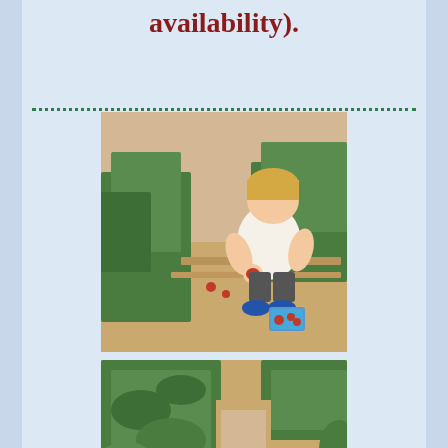availability).
[Figure (photo): Young blonde toddler boy crouching in a strawberry field, wearing a white t-shirt and blue shoes, holding a strawberry, with a small blue carton of strawberries beside him]
[Figure (photo): Close-up of strawberry plants in a field with ripe red strawberries, and a blue carton of picked strawberries visible at the bottom]